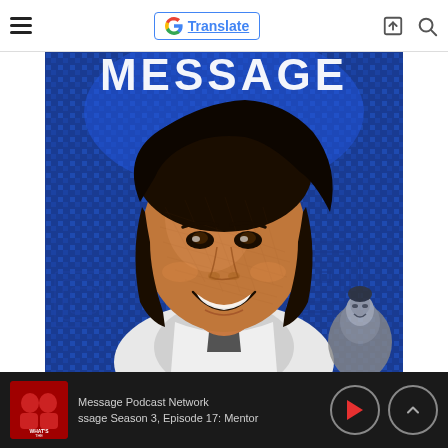Message Podcast Network — Navigation bar with hamburger menu and Google Translate button
[Figure (illustration): Stylized digital mosaic artwork showing a smiling Black woman with natural hair against a bright blue geometric patterned background. Bold text 'MESSAGE' appears at the top in white uppercase letters. A smaller inset figure appears in the lower right corner. The artwork has a painterly, mosaic/crosshatch illustration style.]
Message Podcast Network — ssage Season 3, Episode 17: Mentor